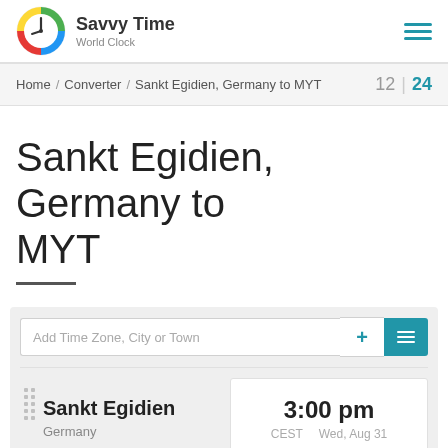Savvy Time World Clock
Home / Converter / Sankt Egidien, Germany to MYT   12 | 24
Sankt Egidien, Germany to MYT
Add Time Zone, City or Town
Sankt Egidien — Germany — 3:00 pm — CEST — Wed, Aug 31